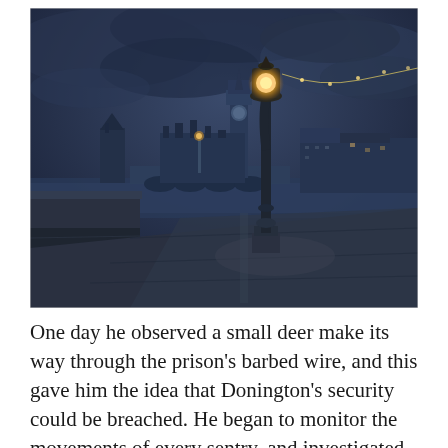[Figure (photo): A moody, dark twilight photograph of the Thames Embankment in London, showing a decorative Victorian lamp post in the foreground glowing orange, with Westminster Bridge, Big Ben (Elizabeth Tower), the Houses of Parliament, and other London buildings visible in the background under a stormy blue-grey sky. String lights are visible stretching from the lamp post to the right. Stone embankment walls and wet pavement are in the foreground.]
One day he observed a small deer make its way through the prison's barbed wire, and this gave him the idea that Donington's security could be breached.  He began to monitor the movements of every sentry, and investigated